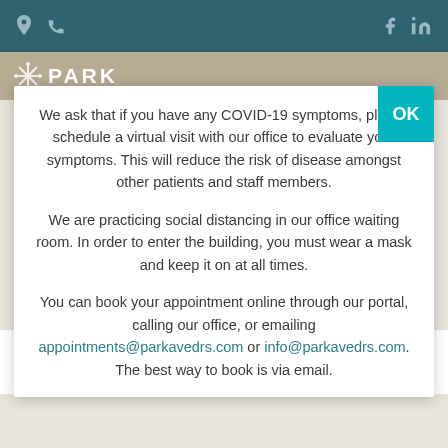Park Avenue Doctors — navigation bar with location, phone, Facebook, LinkedIn icons
[Figure (screenshot): Website top navigation bar with teal background showing location pin icon, phone icon on left, and Facebook and LinkedIn icons on right]
[Figure (logo): Park (PARK) logo with snowflake emblem on tan/khaki sub-header bar]
We ask that if you have any COVID-19 symptoms, please schedule a virtual visit with our office to evaluate your symptoms. This will reduce the risk of disease amongst other patients and staff members.
We are practicing social distancing in our office waiting room. In order to enter the building, you must wear a mask and keep it on at all times.
You can book your appointment online through our portal, calling our office, or emailing appointments@parkavedrs.com or info@parkavedrs.com. The best way to book is via email.
any additional tests or treatments that may be necessary.
If you have any symptoms that may warrant